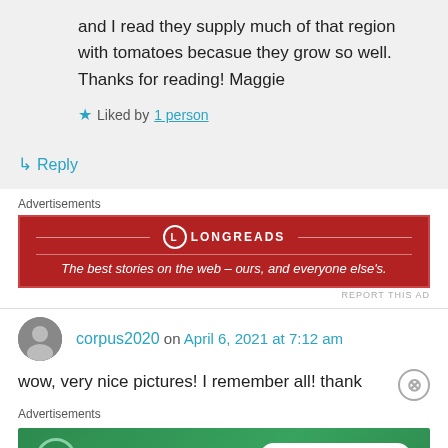and I read they supply much of that region with tomatoes becasue they grow so well. Thanks for reading! Maggie
★ Liked by 1 person
↳ Reply
Advertisements
[Figure (screenshot): Longreads advertisement banner: red background with Longreads logo and text 'The best stories on the web – ours, and everyone else's.']
REPORT THIS AD
corpus2020 on April 6, 2021 at 7:12 am
wow, very nice pictures! I remember all! thank
Advertisements
[Figure (screenshot): Jetpack advertisement banner: green background with Jetpack logo and 'Back up your site' button.]
REPORT THIS AD